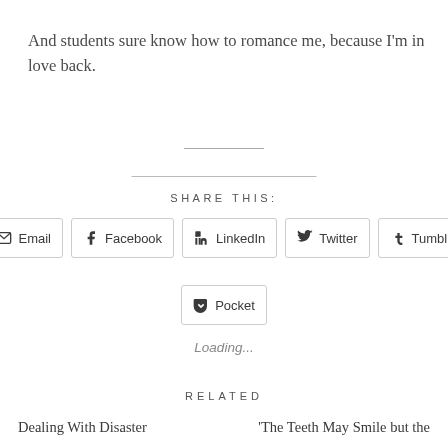And students sure know how to romance me, because I'm in love back.
SHARE THIS:
Email Facebook LinkedIn Twitter Tumblr Pocket
Loading...
RELATED
Dealing With Disaster
'The Teeth May Smile but the